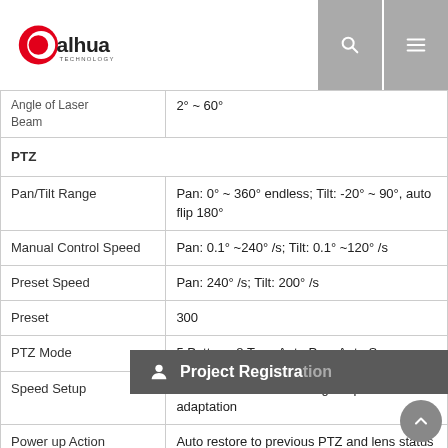Dahua Technology logo with search and menu icons
| Parameter | Value |
| --- | --- |
| Angle of Laser Beam | 2° ~ 60° |
| PTZ |  |
| Pan/Tilt Range | Pan: 0° ~ 360° endless; Tilt: -20° ~ 90°, auto flip 180° |
| Manual Control Speed | Pan: 0.1° ~240° /s; Tilt: 0.1° ~120° /s |
| Preset Speed | Pan: 240° /s; Tilt: 200° /s |
| Preset | 300 |
| PTZ Mode | 5 Pattern, 8 Tour, Auto Pan, Auto Scan |
| Speed Setup | Human-oriented focal length/ speed adaptation |
| Power up Action | Auto restore to previous PTZ and lens status after... |
| Idle Motion | Activate Preset... there is no command in the specified period |